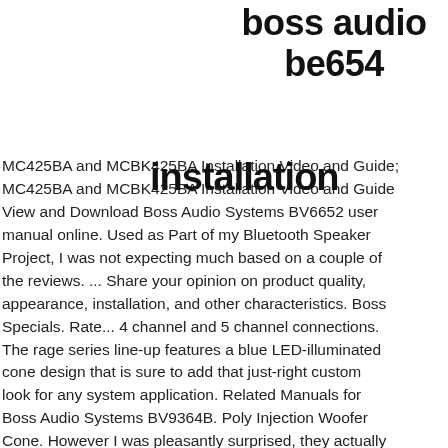boss audio be654
installation
MC425BA and MCBK425BA Installation Video and Guide; MC425BA and MCBK425BA Installation Video and Guide View and Download Boss Audio Systems BV6652 user manual online. Used as Part of my Bluetooth Speaker Project, I was not expecting much based on a couple of the reviews. ... Share your opinion on product quality, appearance, installation, and other characteristics. Boss Specials. Rate... 4 channel and 5 channel connections. The rage series line-up features a blue LED-illuminated cone design that is sure to add that just-right custom look for any system application. Related Manuals for Boss Audio Systems BV9364B. Poly Injection Woofer Cone. However I was pleasantly surprised, they actually put out surprisingly great amount of bass for 4" car speakers